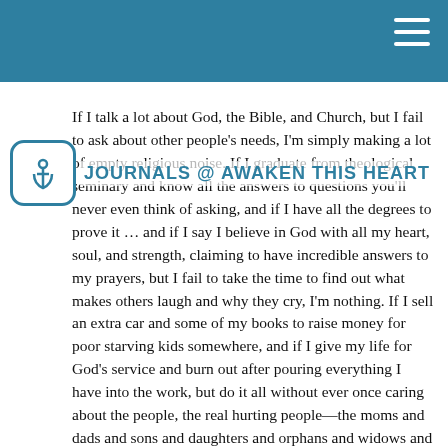JOURNALS @ AWAKEN THIS HEART
If I talk a lot about God, the Bible, and Church, but I fail to ask about other people’s needs, I’m simply making a lot of empty religious noise. If I graduate from theological seminary and know all the answers to questions you’ll never even think of asking, and if I have all the degrees to prove it … and if I say I believe in God with all my heart, soul, and strength, claiming to have incredible answers to my prayers, but I fail to take the time to find out what makes others laugh and why they cry, I’m nothing. If I sell an extra car and some of my books to raise money for poor starving kids somewhere, and if I give my life for God’s service and burn out after pouring everything I have into the work, but do it all without ever once caring about the people, the real hurting people—the moms and dads and sons and daughters and orphans and widows and the lonely and forgotten—if I pour my life into the Kingdom but forget to love those here on earth, my energy is wasted, and so is my life.
Here is what love is like … genuine love. God’s kind of love. It’s patient. It can wait. It helps others, even if they never find out who assisted them. Love doesn’t look for greener pastures. Love doesn’t boast. It doesn’t try to build itself up to be something it